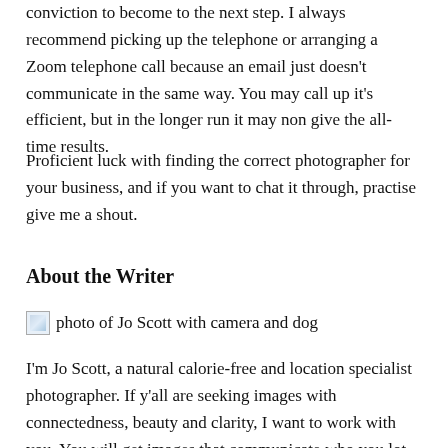conviction to become to the next step. I always recommend picking up the telephone or arranging a Zoom telephone call because an email just doesn't communicate in the same way. You may call up it's efficient, but in the longer run it may non give the all-time results.
Proficient luck with finding the correct photographer for your business, and if you want to chat it through, practise give me a shout.
About the Writer
[Figure (photo): photo of Jo Scott with camera and dog]
I'm Jo Scott, a natural calorie-free and location specialist photographer. If y'all are seeking images with connectedness, beauty and clarity, I want to work with you. You will get images that communicate who you lot are, what you practice and what